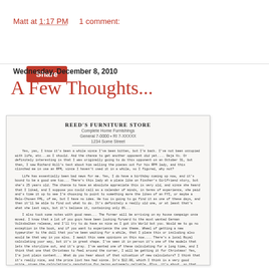Matt at 1:17 PM    1 comment:
Share
Wednesday, December 8, 2010
A Few Thoughts...
[Figure (photo): Scanned typewritten letter on Reed's letterhead, containing several paragraphs of typed text describing personal and business matters.]